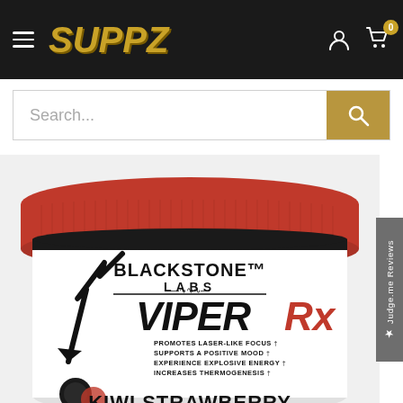SUPPZ — navigation bar with hamburger menu, logo, user icon, cart (0)
[Figure (screenshot): Search bar with placeholder text 'Search...' and gold search button]
[Figure (photo): Blackstone Labs ViperRx supplement tub with red lid, white label showing: BLACKSTONE LABS, ViperRx, PROMOTES LASER-LIKE FOCUS, SUPPORTS A POSITIVE MOOD, EXPERIENCE EXPLOSIVE ENERGY, INCREASES THERMOGENESIS, KIWI STRAWBERRY flavor]
Judge.me Reviews